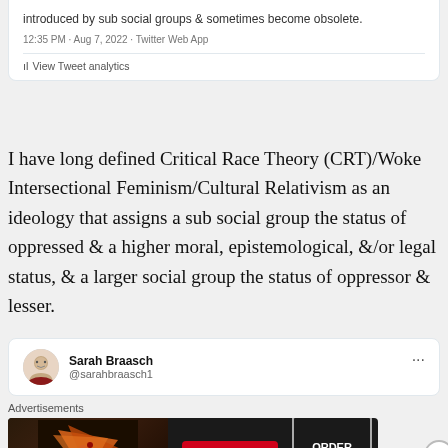[Figure (screenshot): Partial tweet card showing text 'introduced by sub social groups & sometimes become obsolete.' with timestamp '12:35 PM · Aug 7, 2022 · Twitter Web App' and 'View Tweet analytics' link]
I have long defined Critical Race Theory (CRT)/Woke Intersectional Feminism/Cultural Relativism as an ideology that assigns a sub social group the status of oppressed & a higher moral, epistemological, &/or legal status, & a larger social group the status of oppressor & lesser.
[Figure (screenshot): Twitter profile card showing Sarah Braasch @sarahbraasch1 with avatar]
[Figure (screenshot): Seamless food delivery advertisement banner with pizza image, Seamless logo, and ORDER NOW button]